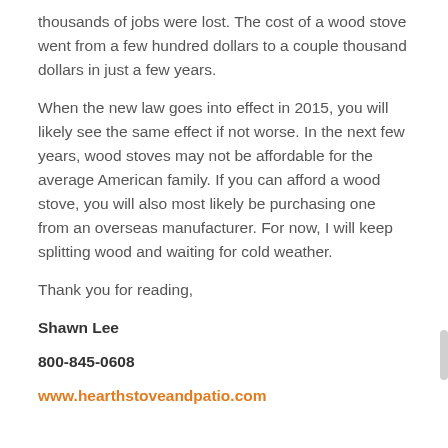thousands of jobs were lost. The cost of a wood stove went from a few hundred dollars to a couple thousand dollars in just a few years.
When the new law goes into effect in 2015, you will likely see the same effect if not worse. In the next few years, wood stoves may not be affordable for the average American family. If you can afford a wood stove, you will also most likely be purchasing one from an overseas manufacturer. For now, I will keep splitting wood and waiting for cold weather.
Thank you for reading,
Shawn Lee
800-845-0608
www.hearthstoveandpatio.com